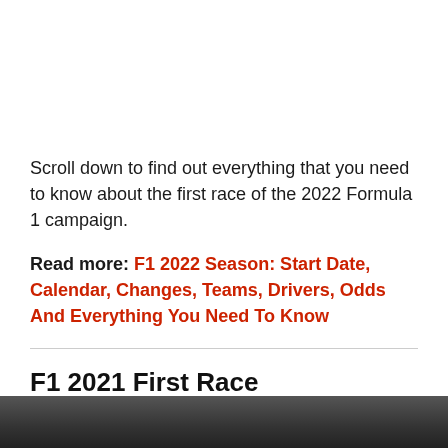Scroll down to find out everything that you need to know about the first race of the 2022 Formula 1 campaign.
Read more: F1 2022 Season: Start Date, Calendar, Changes, Teams, Drivers, Odds And Everything You Need To Know
F1 2021 First Race
[Figure (photo): Bottom strip of a dark racing photo, partially visible at the bottom of the page]